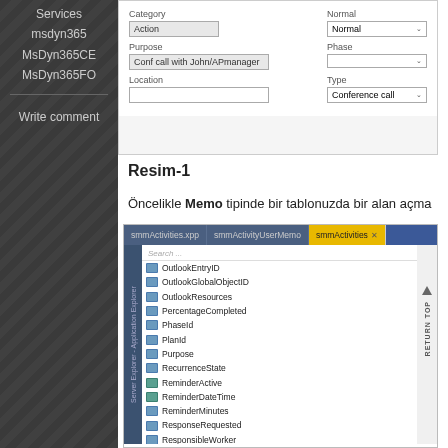Services
msdyn365
MsDyn365CE
MsDyn365FO
Write comment
[Figure (screenshot): A form screenshot showing Category (Action), Purpose (Conf call with John/APmanager), Location fields on the left and Normal dropdown, Phase dropdown, Type (Conference call) dropdown on the right]
Resim-1
Öncelikle Memo tipinde bir tablonuzda bir alan açma
[Figure (screenshot): Visual Studio Server Explorer showing smmActivities.xpp, smmActivityUserMemo and smmActivities tabs. Tree list shows fields: OutlookEntryID, OutlookGlobalObjectID, OutlookResources, PercentageCompleted, PhaseId, PlanId, Purpose, RecurrenceState, ReminderActive, ReminderDateTime, ReminderMinutes, ResponseRequested, ResponsibleWorker, Sensitivity, Source, StartDateTime, Status]